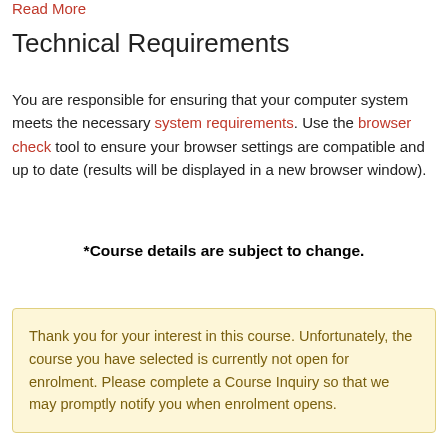Read More
Technical Requirements
You are responsible for ensuring that your computer system meets the necessary system requirements. Use the browser check tool to ensure your browser settings are compatible and up to date (results will be displayed in a new browser window).
*Course details are subject to change.
Thank you for your interest in this course. Unfortunately, the course you have selected is currently not open for enrolment. Please complete a Course Inquiry so that we may promptly notify you when enrolment opens.